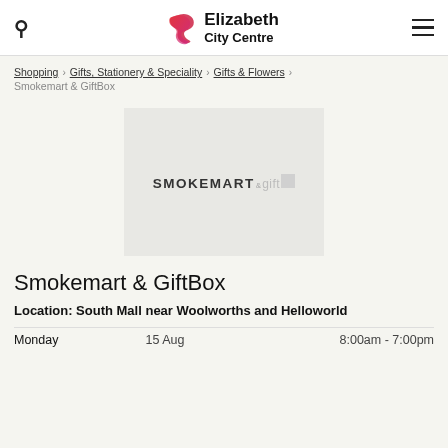Elizabeth City Centre
Shopping > Gifts, Stationery & Speciality > Gifts & Flowers > Smokemart & GiftBox
[Figure (logo): Smokemart & GiftBox store logo on grey background]
Smokemart & GiftBox
Location: South Mall near Woolworths and Helloworld
| Day | Date | Hours |
| --- | --- | --- |
| Monday | 15 Aug | 8:00am - 7:00pm |